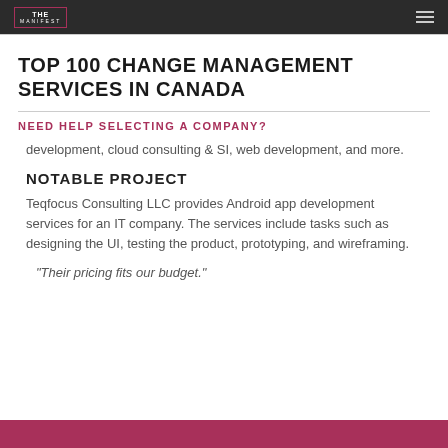THE MANIFEST
TOP 100 CHANGE MANAGEMENT SERVICES IN CANADA
NEED HELP SELECTING A COMPANY?
development, cloud consulting & SI, web development, and more.
NOTABLE PROJECT
Teqfocus Consulting LLC provides Android app development services for an IT company. The services include tasks such as designing the UI, testing the product, prototyping, and wireframing.
"Their pricing fits our budget."